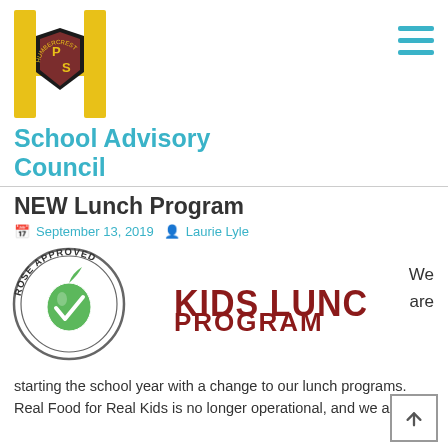[Figure (logo): Humbercrest Public School logo: large yellow letter H with a school crest/shield in the center, and a hamburger menu icon (three teal lines) in the top right]
School Advisory Council
NEW Lunch Program
September 13, 2019  Laurie Lyle
[Figure (logo): Rose Approved Kids Lunch Program logo: a circular stamp reading ROSE APPROVED with a green apple, next to large red text reading KIDS LUNCH PROGRAM]
We are
starting the school year with a change to our lunch programs. Real Food for Real Kids is no longer operational, and we are